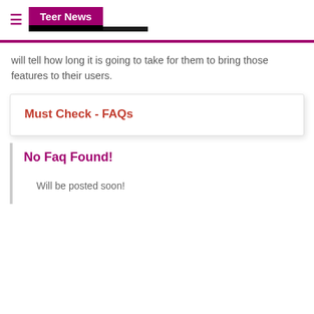≡  Teer News
will tell how long it is going to take for them to bring those features to their users.
Must Check - FAQs
No Faq Found!
Will be posted soon!